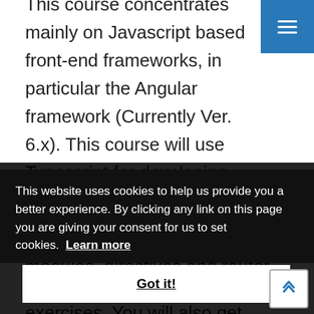This course concentrates mainly on Javascript based front-end frameworks, in particular the Angular framework (Currently Ver. 6.x). This course will use Typescript for developing Angular application. Typescript features will be introduced in the context of Angular as part of the exercises. You will also get an appreciation of the overall capabilities of Angular, including the various built-in Angular modules, directives and router. You will also about data binding, Angular router and is best or
This website uses cookies to help us provide you a better experience. By clicking any link on this page you are giving your consent for us to set cookies. Learn more
Got it!